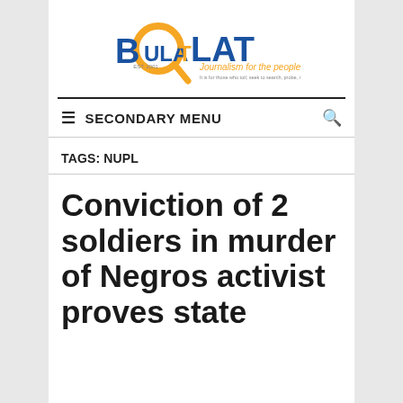[Figure (logo): Bulatlat logo with magnifying glass icon, text 'BULAT LAT' in blue and orange, tagline 'Journalism for the people', EST. 2001]
≡ SECONDARY MENU 🔍
TAGS: NUPL
Conviction of 2 soldiers in murder of Negros activist proves state